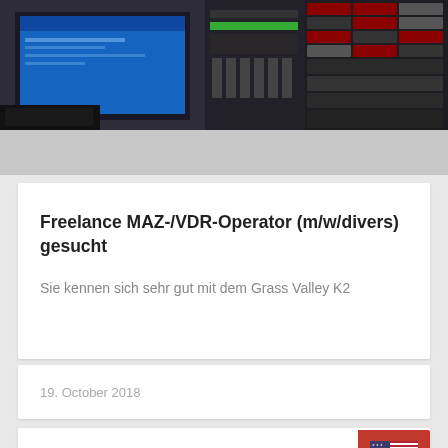[Figure (photo): Broadcast studio equipment rack with monitors, control panels, video tape machines, and electronic gear. Left side shows a blue monitor screen with computer interface, right side shows multiple rack-mounted tape/video units with red and gray labels.]
Freelance MAZ-/VDR-Operator (m/w/divers) gesucht
Sie kennen sich sehr gut mit dem Grass Valley K2
19. October 2018
[Figure (illustration): Partial view of a card with a US flag icon on a red background button in the bottom right corner.]